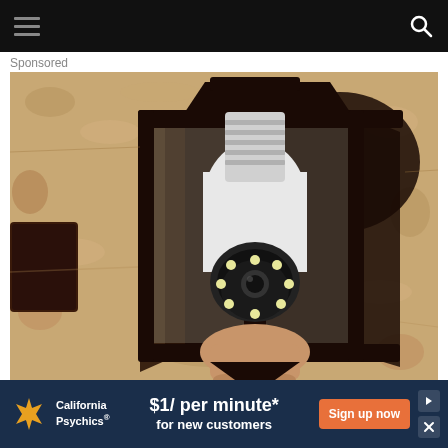Navigation bar with hamburger menu and search icon
Sponsored
[Figure (photo): A security camera bulb being installed into an outdoor black lantern-style wall light fixture mounted on a textured stucco wall. The camera bulb is white with a circular LED ring at the bottom, screwed into the lantern socket.]
[Figure (photo): California Psychics advertisement banner. Dark navy background with California Psychics logo (gold starburst), text: $1/ per minute* for new customers, orange Sign up now button, and skip/close controls.]